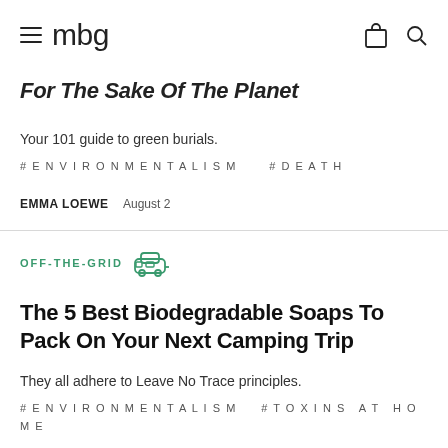mbg
For The Sake Of The Planet
Your 101 guide to green burials.
#ENVIRONMENTALISM  #DEATH
EMMA LOEWE  August 2
OFF-THE-GRID
The 5 Best Biodegradable Soaps To Pack On Your Next Camping Trip
They all adhere to Leave No Trace principles.
#ENVIRONMENTALISM  #TOXINS AT HOME